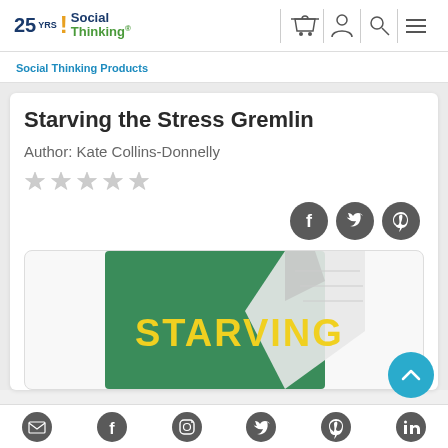25 YRS Social Thinking [logo with nav icons]
Social Thinking Products
Starving the Stress Gremlin
Author: Kate Collins-Donnelly
[Figure (illustration): Five empty grey star rating icons]
[Figure (illustration): Social share icons: Facebook, Twitter, Pinterest]
[Figure (photo): Book cover showing green background with yellow text reading STARVING, page curling at corner]
Footer social icons: email, facebook, instagram, twitter, pinterest, linkedin